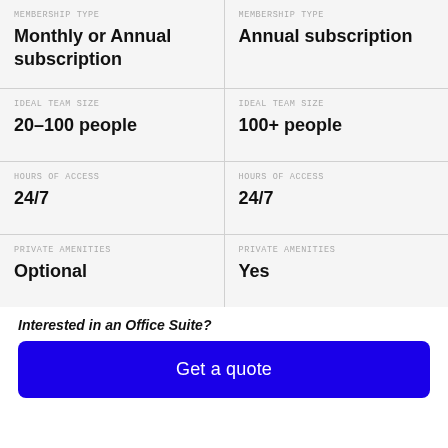| MEMBERSHIP TYPE (col1) | MEMBERSHIP TYPE (col2) |
| --- | --- |
| Monthly or Annual subscription | Annual subscription |
| 20–100 people | 100+ people |
| 24/7 | 24/7 |
| Optional | Yes |
Interested in an Office Suite?
Get a quote